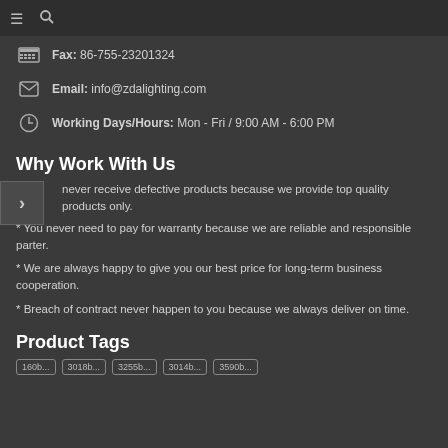≡ 🔍
Fax: 86-755-23201324
Email: info@zdalighting.com
Working Days/Hours: Mon - Fri / 9:00 AM - 6:00 PM
Why Work With Us
* You never receive defective products because we provide top quality products only.
* You never need to pay for warranty because we are reliable and responsible parter.
* We are always happy to give you our best price for long-term business cooperation.
* Breach of contract never happen to you because we always deliver on time.
Product Tags
160b... | 3018b... | 3255b... | 3014b... | 3590b...